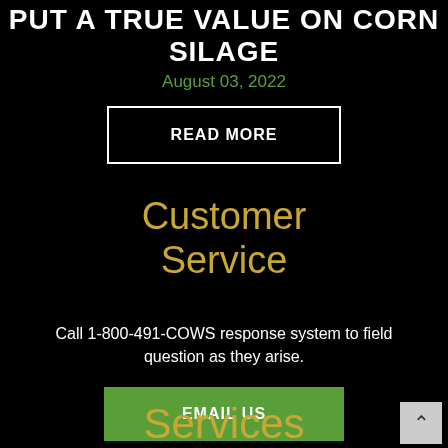PUT A TRUE VALUE ON CORN SILAGE
August 03, 2022
READ MORE
Customer Service
Call 1-800-491-COWS response system to field question as they arise.
EMAIL US
Services